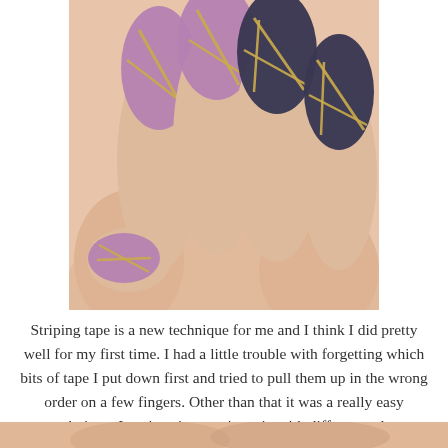[Figure (photo): Close-up photo of a hand with nail art using striping tape technique. Nails alternate between purple/lavender and dark navy blue polish with gold striping tape creating geometric patterns across the nails.]
Striping tape is a new technique for me and I think I did pretty well for my first time. I had a little trouble with forgetting which bits of tape I put down first and tried to pull them up in the wrong order on a few fingers. Other than that it was a really easy technique. I can't wait to try it again with different color combinations.
[Figure (photo): Partial photo visible at bottom of page, appears to be another nail art photo.]